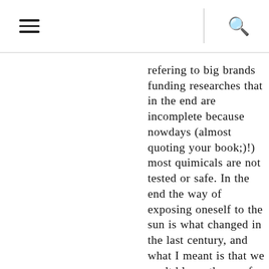☰  🔍
refering to big brands funding researches that in the end are incomplete because nowdays (almost quoting your book;)!) most quimicals are not tested or safe. In the end the way of exposing oneself to the sun is what changed in the last century, and what I meant is that we can't blame the sun for cancer but